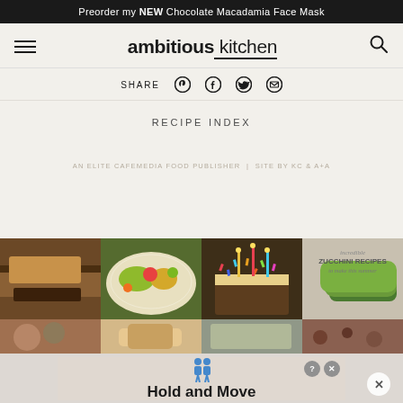Preorder my NEW Chocolate Macadamia Face Mask
[Figure (logo): Ambitious Kitchen logo with hamburger menu on left and search icon on right]
SHARE
RECIPE INDEX
AN ELITE CAFEMEDIA FOOD PUBLISHER | SITE BY KC & A+A
[Figure (photo): Grid of food photos: chocolate bar held by hand, colorful salad, birthday cake with sprinkles and candles, zucchini recipes collage, and partial bottom row of food images]
[Figure (screenshot): Ad banner at bottom: Hold and Move with cartoon figure icons and close/help buttons]